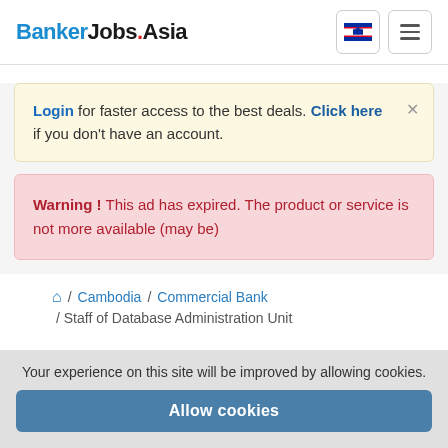BankerJobsAsia
Login for faster access to the best deals. Click here if you don't have an account.
Warning ! This ad has expired. The product or service is not more available (may be)
Home / Cambodia / Commercial Bank / Staff of Database Administration Unit
Your experience on this site will be improved by allowing cookies. Allow cookies